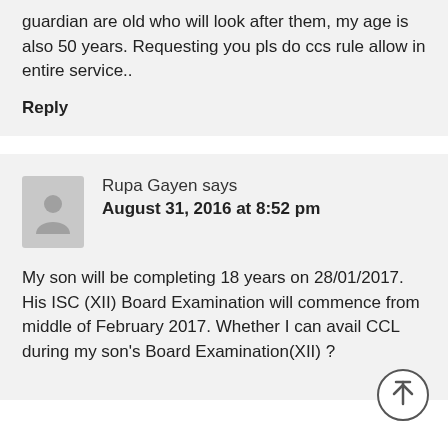guardian are old who will look after them, my age is also 50 years. Requesting you pls do ccs rule allow in entire service..
Reply
Rupa Gayen says
August 31, 2016 at 8:52 pm
My son will be completing 18 years on 28/01/2017. His ISC (XII) Board Examination will commence from middle of February 2017. Whether I can avail CCL during my son's Board Examination(XII) ?